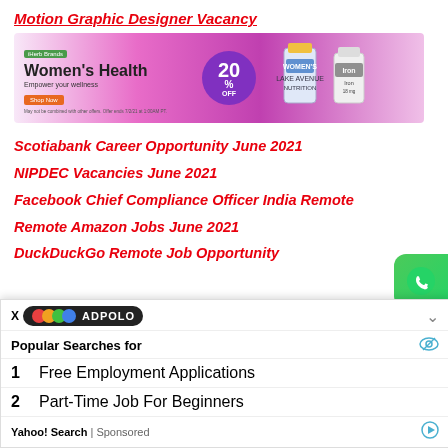Motion Graphic Designer Vacancy
[Figure (infographic): Women's Health advertisement banner with 20% OFF discount, supplement bottles, and Shop Now button]
Scotiabank Career Opportunity June 2021
NIPDEC Vacancies June 2021
Facebook Chief Compliance Officer India Remote
Remote Amazon Jobs June 2021
DuckDuckGo Remote Job Opportunity
[Figure (screenshot): AdPolo popup overlay showing Popular Searches for: 1. Free Employment Applications, 2. Part-Time Job For Beginners. Yahoo! Search | Sponsored]
Popular Searches for
1  Free Employment Applications
2  Part-Time Job For Beginners
Yahoo! Search | Sponsored